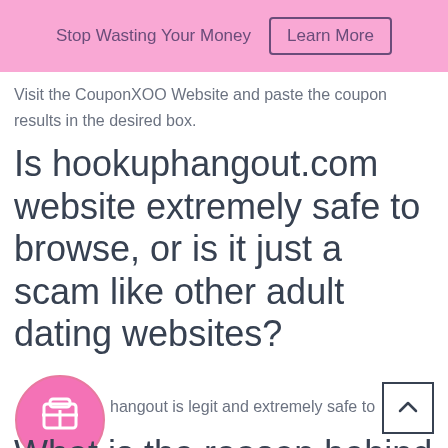Stop Wasting Your Money   Learn More
Visit the CouponXOO Website and paste the coupon results in the desired box.
Is hookuphangout.com website extremely safe to browse, or is it just a scam like other adult dating websites?
[Figure (illustration): Pink circle with briefcase/work bag icon inside]
hangout is legit and extremely safe to
What is the reason behind